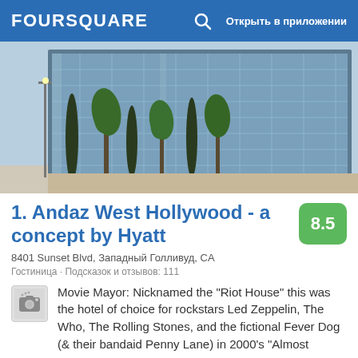FOURSQUARE  Открыть в приложении
[Figure (photo): Exterior photo of Andaz West Hollywood hotel building with glass facade and palm trees]
1. Andaz West Hollywood - a concept by Hyatt
8.5
8401 Sunset Blvd, Западный Голливуд, CA
Гостиница · Подсказок и отзывов: 111
Movie Mayor: Nicknamed the "Riot House" this was the hotel of choice for rockstars Led Zeppelin, The Who, The Rolling Stones, and the fictional Fever Dog (& their bandaid Penny Lane) in 2000's "Almost